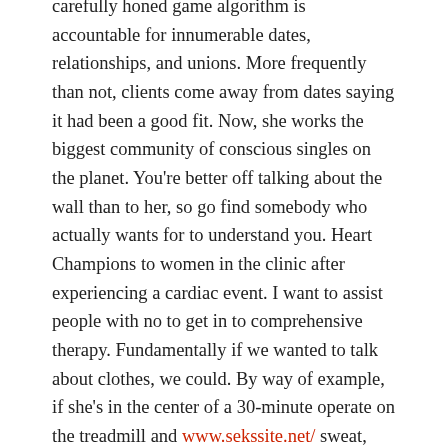carefully honed game algorithm is accountable for innumerable dates, relationships, and unions. More frequently than not, clients come away from dates saying it had been a good fit. Now, she works the biggest community of conscious singles on the planet. You're better off talking about the wall than to her, so go find somebody who actually wants for to understand you. Heart Champions to women in the clinic after experiencing a cardiac event. I want to assist people with no to get in to comprehensive therapy. Fundamentally if we wanted to talk about clothes, we could. By way of example, if she's in the center of a 30-minute operate on the treadmill and www.sekssite.net/ sweat, don't approach her.
Apps For Sexting